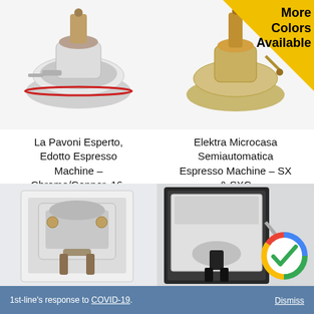[Figure (photo): La Pavoni espresso machine, chrome/copper, partially visible at top]
[Figure (photo): Elektra espresso machine in gold/brass color, partially visible at top, with 'More Colors Available' yellow badge overlay]
La Pavoni Esperto, Edotto Espresso Machine – Chrome/Copper, 16-Cup, Wood Handles
$2,399.00  $2,299.00
Elektra Microcasa Semiautomatica Espresso Machine – SX & SXC
★★★★★
$2,259.00
[Figure (photo): Stainless steel espresso machine with wood handles, bottom left product]
[Figure (photo): Chrome espresso machine with Google verified badge overlay, bottom right product]
1st-line's response to COVID-19.
Dismiss